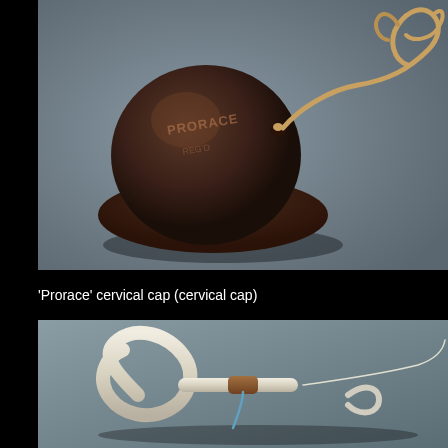[Figure (photo): Photograph of a 'Prorace' cervical cap — a dark brown dome-shaped rubber cap with text embossed on it, attached to a beige/gold curled ribbon or strap, displayed against a grey background.]
'Prorace' cervical cap (cervical cap)
[Figure (photo): Photograph of an intrauterine device (IUD) — a coiled cream/white plastic device with a copper brown segment and thin thread/strings, displayed against a grey background.]